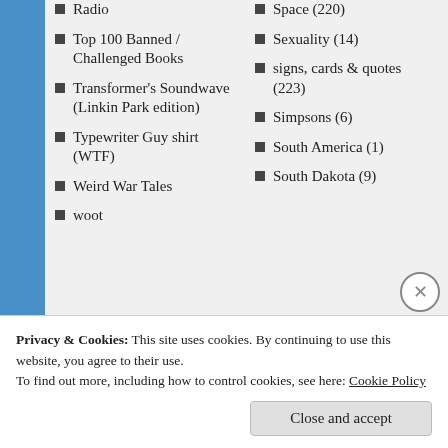Radio
Top 100 Banned / Challenged Books
Transformer's Soundwave (Linkin Park edition)
Typewriter Guy shirt (WTF)
Weird War Tales
woot
Space (220)
Sexuality (14)
signs, cards & quotes (223)
Simpsons (6)
South America (1)
South Dakota (9)
Privacy & Cookies: This site uses cookies. By continuing to use this website, you agree to their use. To find out more, including how to control cookies, see here: Cookie Policy
Close and accept